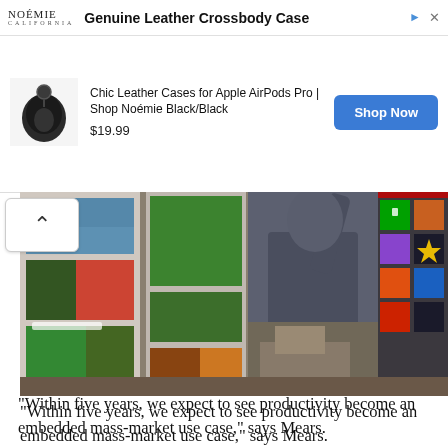[Figure (screenshot): Advertisement banner for Noémie Genuine Leather Crossbody Case showing product image of black AirPods Pro case, price $19.99, and Shop Now button]
[Figure (photo): Person seen from behind wearing dark shirt, reaching up to interact with a large augmented reality display showing photos/images panel on left and Windows-style app tiles on right]
“Within five years, we expect to see productivity become an embedded mass-market use case,” says Mears.
Productivity can mean all kinds of things, but in the case of AR, it chiefly refers to making everyday activities – replying to emails, checking your calendar, keeping on top of your job list, finding